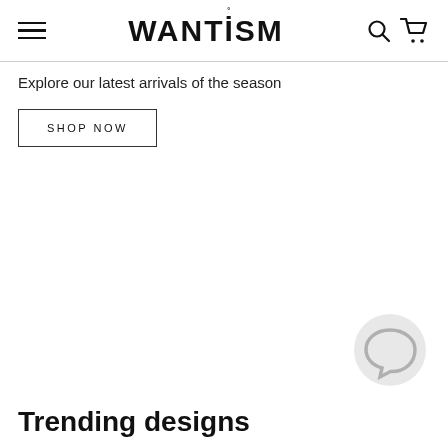WANTISM
Explore our latest arrivals of the season
SHOP NOW
[Figure (illustration): Chat bubble / customer support icon, gray circle with speech bubble shape]
Trending designs